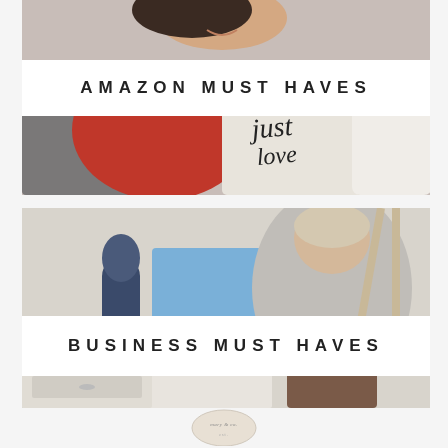[Figure (photo): Woman in red sweater sitting on couch holding a decorative pillow with cursive text, smiling, cozy home setting]
AMAZON MUST HAVES
[Figure (photo): Woman in grey hoodie sitting at a home office desk with a laptop and Blue Yeti microphone, working from home]
BUSINESS MUST HAVES
[Figure (logo): Circular logo with script text at the bottom of the page]